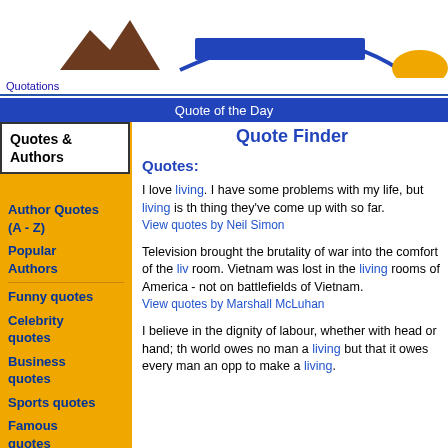[Figure (logo): Website header logo with mountain silhouette and dome arch in blue, with orange sun element on right]
Quotations
Quote of the Day
Quotes & Authors
Author Quotes (A - Z)
Popular Authors
Funny quotes
Celebrity quotes
Business quotes
Sports quotes
Famous quotes
Political
Quote Finder
Quotes:
I love living. I have some problems with my life, but living is the best thing they've come up with so far.
View quotes by Neil Simon
Television brought the brutality of war into the comfort of the living room. Vietnam was lost in the living rooms of America - not on the battlefields of Vietnam.
View quotes by Marshall McLuhan
I believe in the dignity of labour, whether with head or hand; the world owes no man a living but that it owes every man an opportunity to make a living.